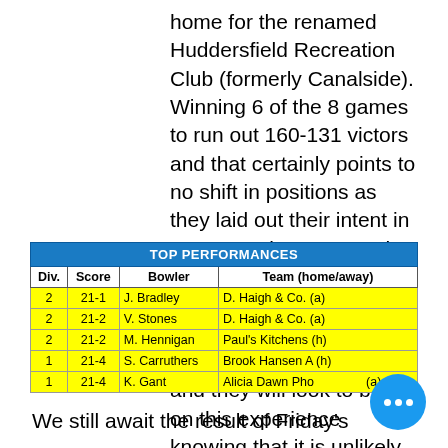home for the renamed Huddersfield Recreation Club (formerly Canalside). Winning 6 of the 8 games to run out 160-131 victors and that certainly points to no shift in positions as they laid out their intent in no uncertain manner. The newly-promoted Recreation Club could hardly have started out with a more difficult fixture and they will look to build on this experience knowing that it is unlikely to get any more difficult than this to win a match.
| Div. | Score | Bowler | Team (home/away) |
| --- | --- | --- | --- |
| 2 | 21-1 | J. Bradley | D. Haigh & Co. (a) |
| 2 | 21-2 | V. Stones | D. Haigh & Co. (a) |
| 2 | 21-2 | M. Hennigan | Paul's Kitchens (h) |
| 1 | 21-4 | S. Carruthers | Brook Hansen A (h) |
| 1 | 21-4 | K. Gant | Alicia Dawn Pho... (a) |
We still await the result of Friday's